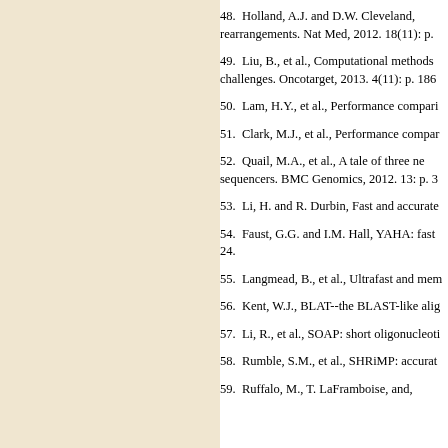48. Holland, A.J. and D.W. Cleveland, rearrangements. Nat Med, 2012. 18(11): p.
49. Liu, B., et al., Computational methods challenges. Oncotarget, 2013. 4(11): p. 186
50. Lam, H.Y., et al., Performance compari
51. Clark, M.J., et al., Performance compar
52. Quail, M.A., et al., A tale of three ne sequencers. BMC Genomics, 2012. 13: p. 3
53. Li, H. and R. Durbin, Fast and accurate
54. Faust, G.G. and I.M. Hall, YAHA: fast 24.
55. Langmead, B., et al., Ultrafast and mem
56. Kent, W.J., BLAT--the BLAST-like alig
57. Li, R., et al., SOAP: short oligonucleoti
58. Rumble, S.M., et al., SHRiMP: accurat
59. Ruffalo, M., T. LaFramboise, and,